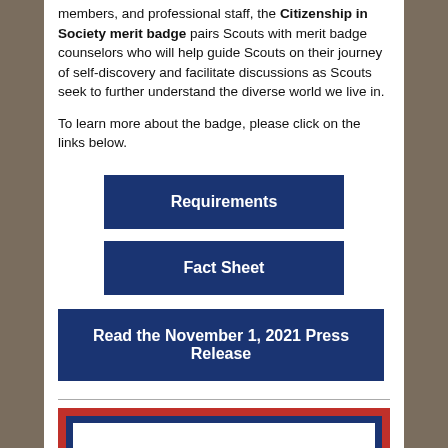Developed by a team of dedicated Scouts, youth members, and professional staff, the Citizenship in Society merit badge pairs Scouts with merit badge counselors who will help guide Scouts on their journey of self-discovery and facilitate discussions as Scouts seek to further understand the diverse world we live in.
To learn more about the badge, please click on the links below.
Requirements
Fact Sheet
Read the November 1, 2021 Press Release
[Figure (illustration): Scout merit badge illustration showing a Scout hat with decorative borders in red, navy blue, and white]